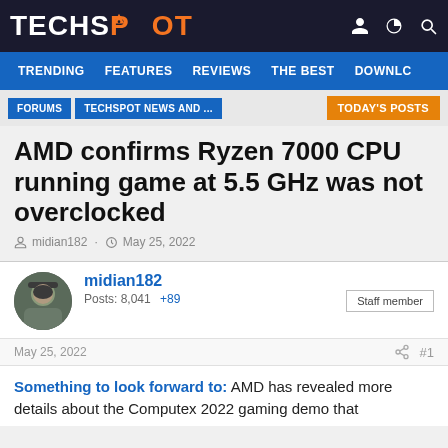TECHSPOT
TRENDING  FEATURES  REVIEWS  THE BEST  DOWNLC
FORUMS  TECHSPOT NEWS AND ...  TODAY'S POSTS
AMD confirms Ryzen 7000 CPU running game at 5.5 GHz was not overclocked
midian182 · May 25, 2022
midian182
Posts: 8,041  +89
Staff member
May 25, 2022  #1
Something to look forward to: AMD has revealed more details about the Computex 2022 gaming demo that